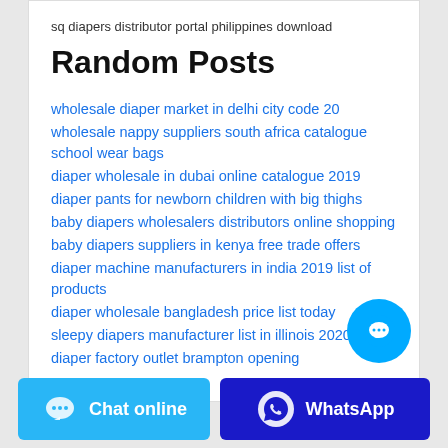sq diapers distributor portal philippines download
Random Posts
wholesale diaper market in delhi city code 20
wholesale nappy suppliers south africa catalogue school wear bags
diaper wholesale in dubai online catalogue 2019
diaper pants for newborn children with big thighs
baby diapers wholesalers distributors online shopping
baby diapers suppliers in kenya free trade offers
diaper machine manufacturers in india 2019 list of products
diaper wholesale bangladesh price list today
sleepy diapers manufacturer list in illinois 2020
diaper factory outlet brampton opening
Chat online
WhatsApp